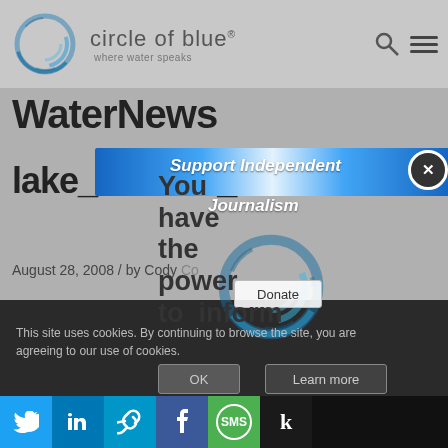circle of blue | where water speaks
WaterNews
lake_victoria_800
August 28, 2008 / by Cody Co...
[Figure (infographic): Support Independent Journalism popup overlay with blue banner, close button (X), Circle of Blue logo, and Donate button]
You have the power to inform
This site uses cookies. By continuing to browse the site, you are agreeing to our use of cookies.
OK | Learn more | Twitter | LinkedIn | Link | Facebook | SMS | Kinja social share buttons